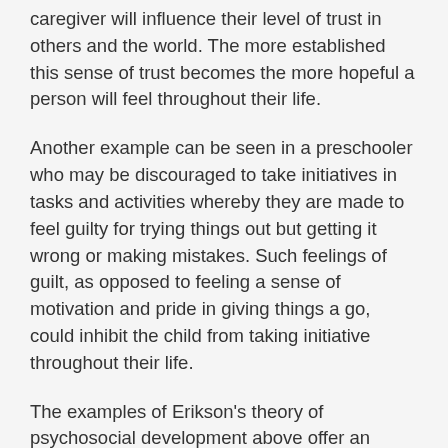caregiver will influence their level of trust in others and the world. The more established this sense of trust becomes the more hopeful a person will feel throughout their life.
Another example can be seen in a preschooler who may be discouraged to take initiatives in tasks and activities whereby they are made to feel guilty for trying things out but getting it wrong or making mistakes. Such feelings of guilt, as opposed to feeling a sense of motivation and pride in giving things a go, could inhibit the child from taking initiative throughout their life.
The examples of Erikson's theory of psychosocial development above offer an overview of how long term emotional dispositions can develop and impact the individual throughout their entire life through important psychosocial interactions. Table 1 below offers further detail of Erikson's stages of psychosocial development and the emotions considered to be developed as a consequence of the interactions contained within it